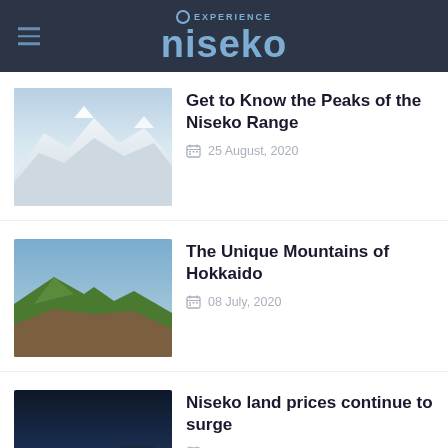EXPERIENCE niseko
Get to Know the Peaks of the Niseko Range
25 August, 2020
[Figure (photo): Snow-covered mountain peaks of the Niseko Range under a pale sky]
The Unique Mountains of Hokkaido
08 July, 2020
[Figure (photo): Green summer mountains of Hokkaido under a blue sky]
Niseko land prices continue to surge
03 July, 2020
[Figure (photo): Niseko village buildings lit up at night with ski resort lights]